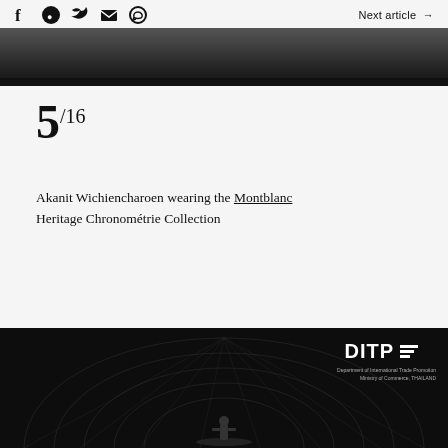f [LINE] [Twitter] [Mail] [WhatsApp]   Next article →
[Figure (photo): Dark/black photograph at the top of the page, partially cropped]
5/16
Akanit Wichiencharoen wearing the Montblanc Heritage Chronométrie Collection
[Figure (photo): Dark background image with DITP logo (Department of International Trade Promotion, Ministry of Commerce, Thailand) and ornate Thai decorative pattern with a small figure at bottom]